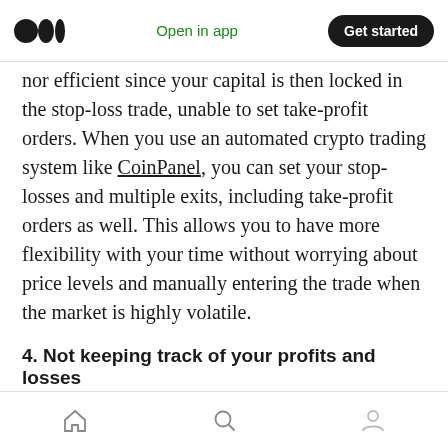Medium logo | Open in app | Get started
nor efficient since your capital is then locked in the stop-loss trade, unable to set take-profit orders. When you use an automated crypto trading system like CoinPanel, you can set your stop-losses and multiple exits, including take-profit orders as well. This allows you to have more flexibility with your time without worrying about price levels and manually entering the trade when the market is highly volatile.
4. Not keeping track of your profits and losses
Although most traders, even beginners, would check on their profits and losses frequently, it's
Home | Search | Profile